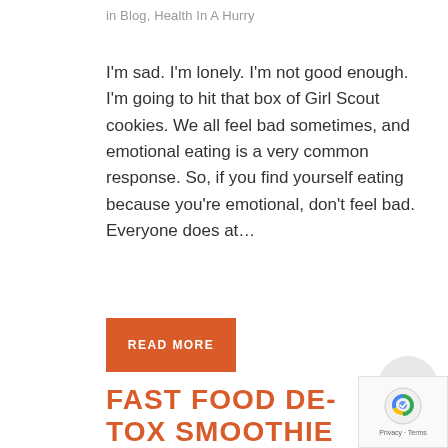in Blog, Health In A Hurry
I'm sad. I'm lonely. I'm not good enough. I'm going to hit that box of Girl Scout cookies. We all feel bad sometimes, and emotional eating is a very common response. So, if you find yourself eating because you're emotional, don't feel bad. Everyone does at...
READ MORE
FAST FOOD DE-TOX SMOOTHIE